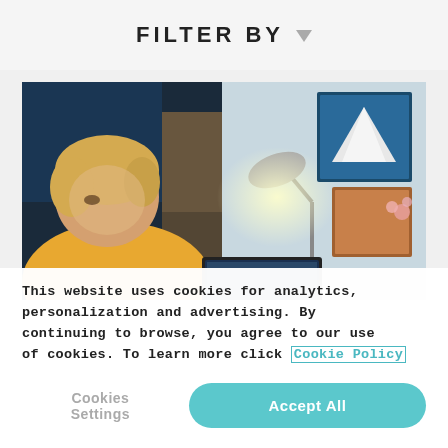FILTER BY ▼
[Figure (photo): A young person with short blonde hair wearing a yellow top, looking down at a laptop or tablet screen, with a desk lamp lit in the background and framed artwork on the wall.]
This website uses cookies for analytics, personalization and advertising. By continuing to browse, you agree to our use of cookies. To learn more click Cookie Policy
Cookies Settings
Accept All